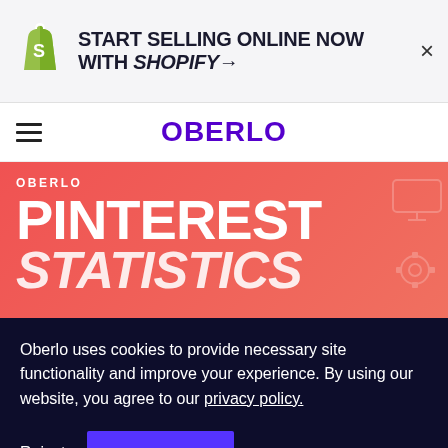[Figure (screenshot): Shopify advertisement banner with Shopify bag logo, text 'START SELLING ONLINE NOW WITH SHOPIFY→' and a close (×) button]
OBERLO
[Figure (screenshot): Oberlo website hero section with red background showing 'OBERLO' label and large text 'PINTEREST STATISTICS' with decorative icons on right]
Oberlo uses cookies to provide necessary site functionality and improve your experience. By using our website, you agree to our privacy policy.
Reject  ACCEPT